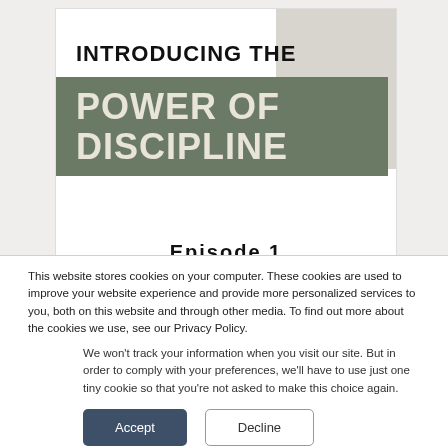[Figure (screenshot): Partial view of a webpage showing 'INTRODUCING THE POWER OF DISCIPLINE' text with a green-grey banner, and partially visible 'Episode 1' text at the bottom, with a grey/beige background on the right.]
This website stores cookies on your computer. These cookies are used to improve your website experience and provide more personalized services to you, both on this website and through other media. To find out more about the cookies we use, see our Privacy Policy.
We won't track your information when you visit our site. But in order to comply with your preferences, we'll have to use just one tiny cookie so that you're not asked to make this choice again.